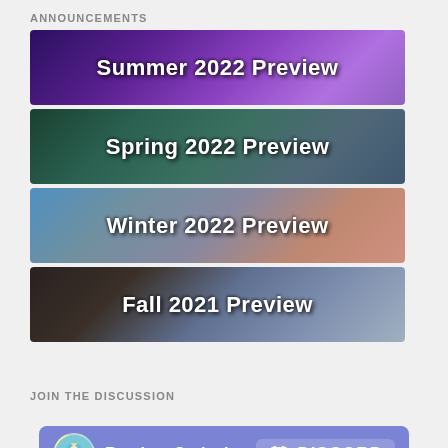ANNOUNCEMENTS
[Figure (illustration): Banner image for Summer 2022 Preview with purple anime-style background and white bold text]
[Figure (illustration): Banner image for Spring 2022 Preview with dark teal/green anime-style background and white bold text]
[Figure (illustration): Banner image for Winter 2022 Preview with blue/warm anime-style background and white bold text]
[Figure (illustration): Banner image for Fall 2021 Preview with dark anime-style background and white bold text]
JOIN THE DISCUSSION
[Figure (logo): Random Curiosity Discord server banner with avatar, site name, and Discord logo]